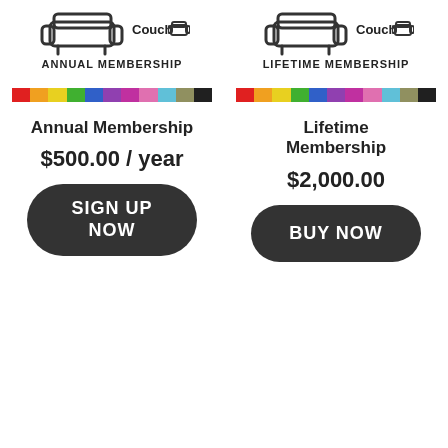[Figure (illustration): Couch icon with text 'Couch' and label 'ANNUAL MEMBERSHIP' on the left column]
[Figure (illustration): Couch icon with text 'Couch' and label 'LIFETIME MEMBERSHIP' on the right column]
[Figure (infographic): Rainbow color bar strip for Annual Membership]
[Figure (infographic): Rainbow color bar strip for Lifetime Membership]
Annual Membership
Lifetime Membership
$500.00 / year
$2,000.00
SIGN UP NOW
BUY NOW